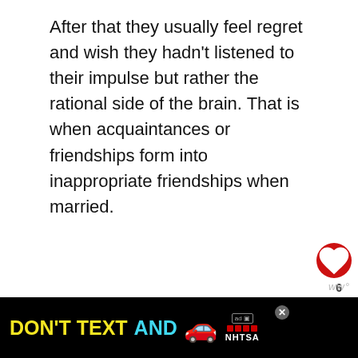After that they usually feel regret and wish they hadn't listened to their impulse but rather the rational side of the brain. That is when acquaintances or friendships form into inappropriate friendships when married.
See also: 7 Signs Your Man Is Having an Emotional Affair
How To Prevent Opposite-
[Figure (infographic): Ad banner: DON'T TEXT AND drive campaign by NHTSA with car emoji]